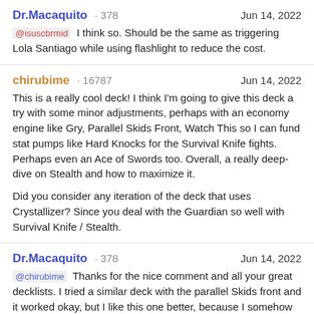Dr.Macaquito · 378   Jun 14, 2022
@isuscbrmid I think so. Should be the same as triggering Lola Santiago while using flashlight to reduce the cost.
chirubime · 16787   Jun 14, 2022
This is a really cool deck! I think I'm going to give this deck a try with some minor adjustments, perhaps with an economy engine like Gry, Parallel Skids Front, Watch This so I can fund stat pumps like Hard Knocks for the Survival Knife fights. Perhaps even an Ace of Swords too. Overall, a really deep-dive on Stealth and how to maximize it.

Did you consider any iteration of the deck that uses Crystallizer? Since you deal with the Guardian so well with Survival Knife / Stealth.
Dr.Macaquito · 378   Jun 14, 2022
@chirubime Thanks for the nice comment and all your great decklists. I tried a similar deck with the parallel Skids front and it worked okay, but I like this one better, because I somehow